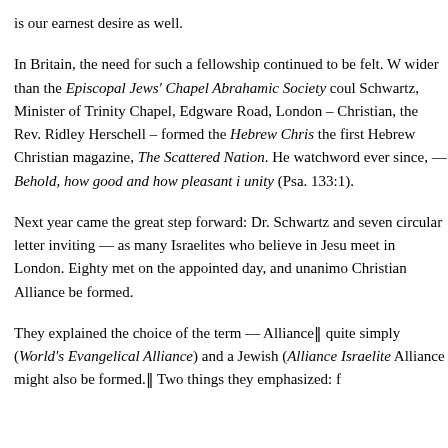is our earnest desire as well.
In Britain, the need for such a fellowship continued to be felt. W wider than the Episcopal Jews' Chapel Abrahamic Society coul Schwartz, Minister of Trinity Chapel, Edgware Road, London – Christian, the Rev. Ridley Herschell – formed the Hebrew Chris the first Hebrew Christian magazine, The Scattered Nation. He watchword ever since, — Behold, how good and how pleasant i unity (Psa. 133:1).
Next year came the great step forward: Dr. Schwartz and seven circular letter inviting — as many Israelites who believe in Jesu meet in London. Eighty met on the appointed day, and unanimo Christian Alliance be formed.
They explained the choice of the term — Alliance‖ quite simply (World's Evangelical Alliance) and a Jewish (Alliance Israelite Alliance might also be formed.‖ Two things they emphasized: f